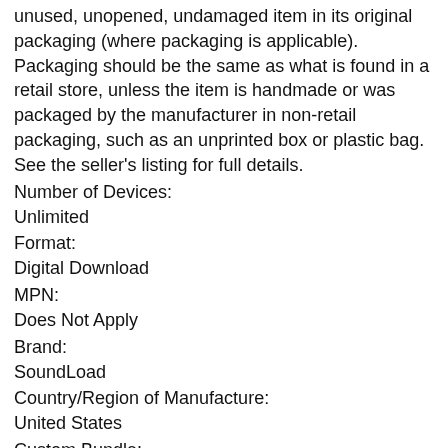unused, unopened, undamaged item in its original packaging (where packaging is applicable). Packaging should be the same as what is found in a retail store, unless the item is handmade or was packaged by the manufacturer in non-retail packaging, such as an unprinted box or plastic bag. See the seller's listing for full details.
Number of Devices:
Unlimited
Format:
Digital Download
MPN:
Does Not Apply
Brand:
SoundLoad
Country/Region of Manufacture:
United States
Custom Bundle:
Yes
For Operating Systems:
Solaris, Windows, Universal, UNIX, Mac, Linux, BSD
Type:
Samples & Loops
UPC:
Does not apply